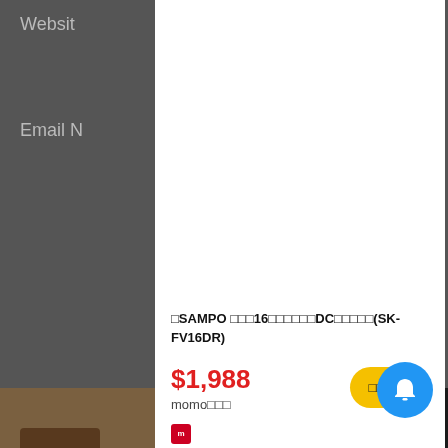Websit
Email N
gola Feed
□SAMPO □□□16□□□□□□DC□□□□□(SK-FV16DR)
$1,988
momo□□□
□□□□□12□/14□/16/18□360□□□□□□□ □□ □□□ □□ □□
$590
□□□□ >
Homeo Trading
Camerca | S